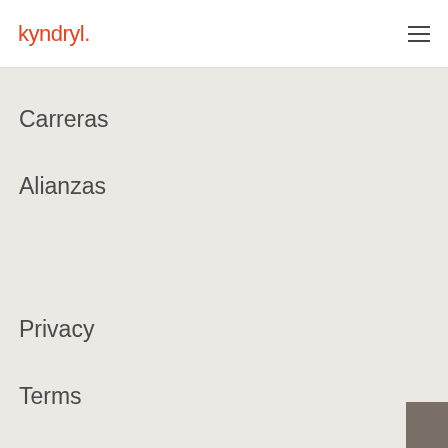kyndryl
Carreras
Alianzas
Privacy
Terms
Security
Certifications